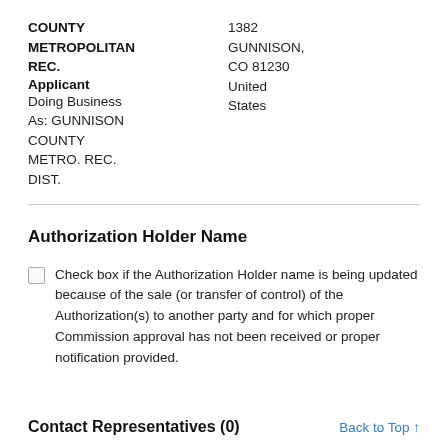COUNTY 1382
METROPOLITAN GUNNISON,
REC. CO 81230
Applicant United
Doing Business States
As: GUNNISON COUNTY METRO. REC. DIST.
Authorization Holder Name
Check box if the Authorization Holder name is being updated because of the sale (or transfer of control) of the Authorization(s) to another party and for which proper Commission approval has not been received or proper notification provided.
Contact Representatives (0)
Back to Top ↑